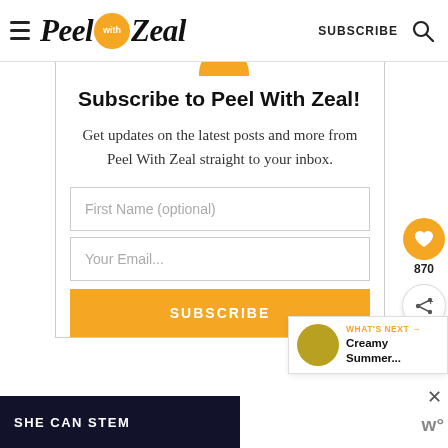Peel with Zeal  SUBSCRIBE
Subscribe to Peel With Zeal!
Get updates on the latest posts and more from Peel With Zeal straight to your inbox.
First Name (optional)
Your Email...
SUBSCRIBE
870
WHAT'S NEXT → Creamy Summer...
SHE CAN STEM